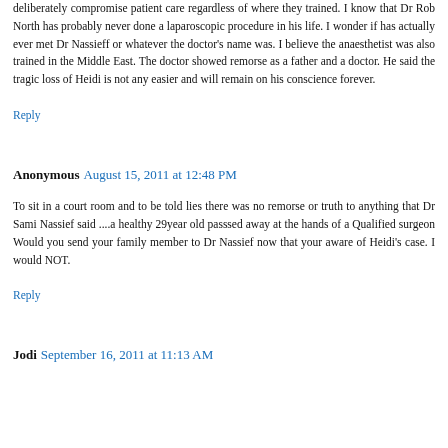deliberately compromise patient care regardless of where they trained. I know that Dr Rob North has probably never done a laparoscopic procedure in his life. I wonder if has actually ever met Dr Nassieff or whatever the doctor's name was. I believe the anaesthetist was also trained in the Middle East. The doctor showed remorse as a father and a doctor. He said the tragic loss of Heidi is not any easier and will remain on his conscience forever.
Reply
Anonymous  August 15, 2011 at 12:48 PM
To sit in a court room and to be told lies there was no remorse or truth to anything that Dr Sami Nassief said ....a healthy 29year old passsed away at the hands of a Qualified surgeon Would you send your family member to Dr Nassief now that your aware of Heidi's case. I would NOT.
Reply
Jodi  September 16, 2011 at 11:13 AM